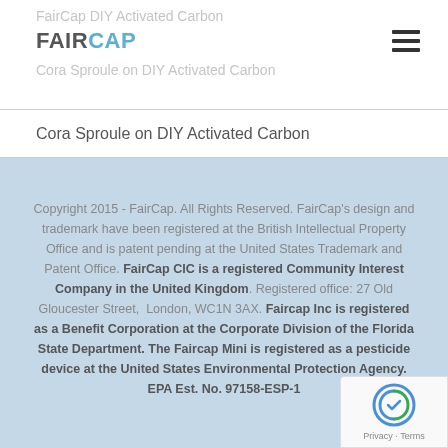FairCap | Cora Sproule on DIY Activated Carbon
Cora Sproule on DIY Activated Carbon
Copyright 2015 - FairCap. All Rights Reserved. FairCap's design and trademark have been registered at the British Intellectual Property Office and is patent pending at the United States Trademark and Patent Office. FairCap CIC is a registered Community Interest Company in the United Kingdom. Registered office: 27 Old Gloucester Street, London, WC1N 3AX. Faircap Inc is registered as a Benefit Corporation at the Corporate Division of the Florida State Department. The Faircap Mini is registered as a pesticide device at the United States Environmental Protection Agency. EPA Est. No. 97158-ESP-1